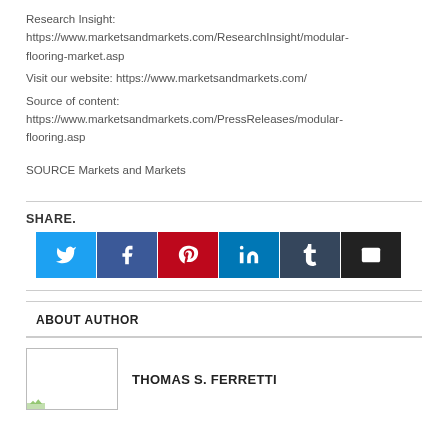Research Insight: https://www.marketsandmarkets.com/ResearchInsight/modular-flooring-market.asp
Visit our website: https://www.marketsandmarkets.com/
Source of content: https://www.marketsandmarkets.com/PressReleases/modular-flooring.asp
SOURCE Markets and Markets
SHARE.
[Figure (infographic): Social share buttons: Twitter, Facebook, Pinterest, LinkedIn, Tumblr, Email]
ABOUT AUTHOR
THOMAS S. FERRETTI